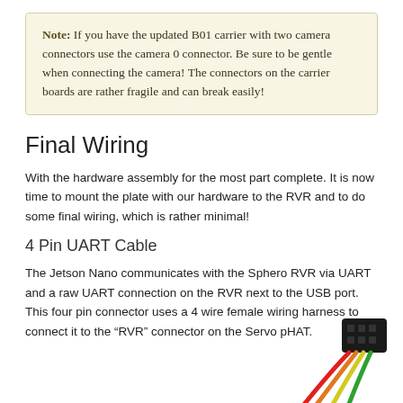Note: If you have the updated B01 carrier with two camera connectors use the camera 0 connector. Be sure to be gentle when connecting the camera! The connectors on the carrier boards are rather fragile and can break easily!
Final Wiring
With the hardware assembly for the most part complete. It is now time to mount the plate with our hardware to the RVR and to do some final wiring, which is rather minimal!
4 Pin UART Cable
The Jetson Nano communicates with the Sphero RVR via UART and a raw UART connection on the RVR next to the USB port. This four pin connector uses a 4 wire female wiring harness to connect it to the “RVR” connector on the Servo pHAT.
[Figure (photo): Photo of a 4-pin female wiring harness connector with four wires (red, orange, yellow, green) coming out of a black plastic connector housing, partially visible in the bottom-right corner of the page.]